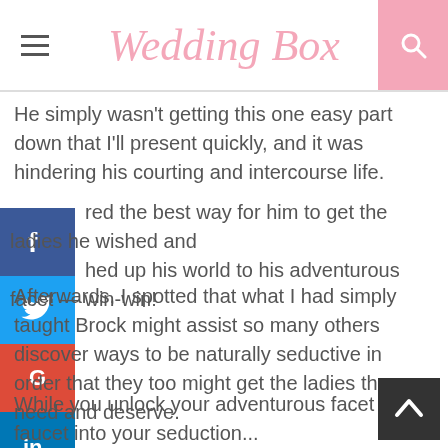Wedding Box
He simply wasn't getting this one easy part down that I'll present quickly, and it was hindering his courting and intercourse life.
red the best way for him to get the ladies he wished and hed up his world to his adventurous facet — win-win!
Afterwards, I spotted that what I had simply taught Brock might assist so many others discover ways to be naturally seductive in order that they too might get the ladies they need and deserve.
While you unlock your adventurous facet and faucet into your seduction...
You are making a method for a nuclear bomb!
Which is strictly what occurred to him. As soon as I unlocked his Adventurous facet (and it was tough for him at first as a result of